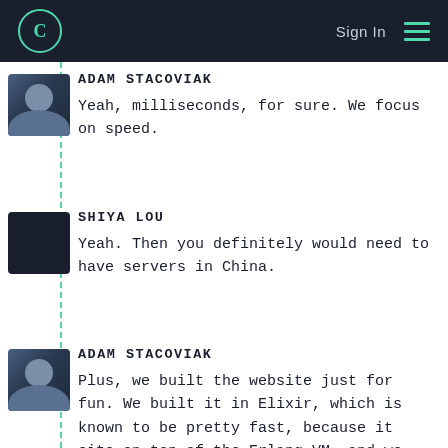C  Sign In ☰
ADAM STACOVIAK
Yeah, milliseconds, for sure. We focus on speed.
SHIYA LOU
Yeah. Then you definitely would need to have servers in China.
ADAM STACOVIAK
Plus, we built the website just for fun. We built it in Elixir, which is known to be pretty fast, because it sits on top of the Erlang VM, and we used Phoenix the web framework, and we purposefully used a smaller JavaScript